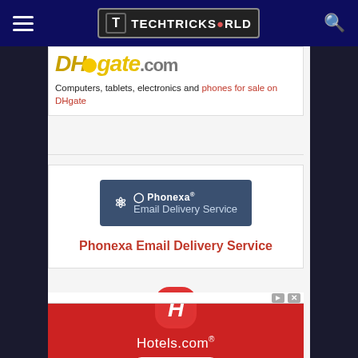TECHTRICKSWORLD
[Figure (screenshot): DHgate logo - stylized italic text in gold/yellow with a yellow circle accent]
Computers, tablets, electronics and phones for sale on DHgate
[Figure (illustration): Phonexa Email Delivery Service banner - dark blue-grey rectangular badge with Phonexa logo and text 'Phonexa Email Delivery Service']
Phonexa Email Delivery Service
[Figure (screenshot): Hotels.com advertisement - red background with Hotels.com app icon and BOOK NOW button]